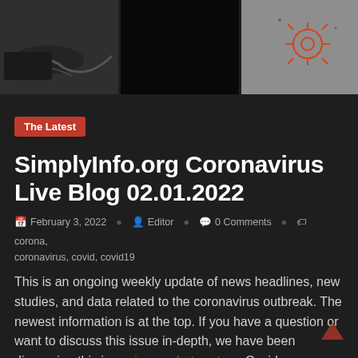[Figure (photo): Three side-by-side photos at top: left shows a dark workspace with cables, center is mostly black, right shows a hand with orange/red coronavirus illustration drawing]
The Latest
SimplyInfo.org Coronavirus Live Blog 02.01.2022
February 3, 2022   Editor   0 Comments   corona, coronavirus, covid, covid19
This is an ongoing weekly update of news headlines, new studies, and data related to the coronavirus outbreak. The newest information is at the top. If you have a question or want to discuss this issue in-depth, we have been discussing this issue in our chat system. Covid